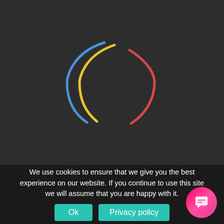[Figure (illustration): Loading spinner graphic on dark background: three curved arc strokes forming a loose circle shape. Left arc is blue, center-left arc is yellow/gold, right arc is red/coral. Arcs are concentric and overlapping, suggesting a spinning loader animation.]
We use cookies to ensure that we give you the best experience on our website. If you continue to use this site we will assume that you are happy with it.
Ok
Privacy policy